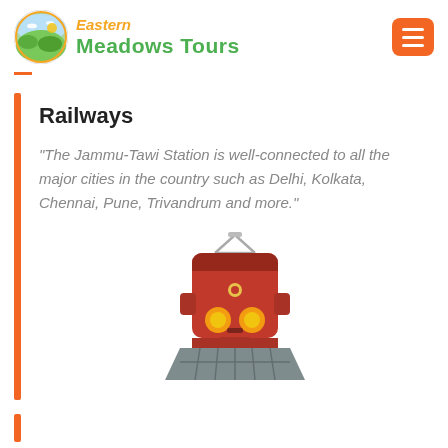[Figure (logo): Eastern Meadows Tours logo with circular green meadow icon and orange/green text]
Railways
"The Jammu-Tawi Station is well-connected to all the major cities in the country such as Delhi, Kolkata, Chennai, Pune, Trivandrum and more."
[Figure (illustration): Front-view cartoon illustration of a red train with yellow headlights and grey body/tracks]